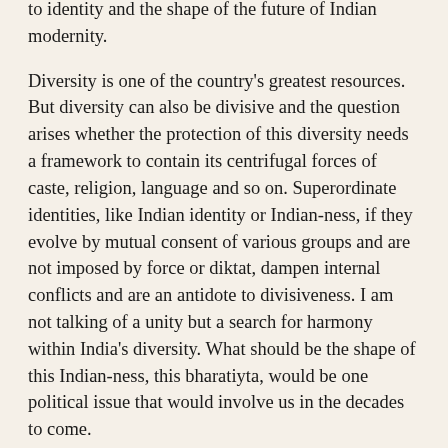to identity and the shape of the future of Indian modernity.
Diversity is one of the country's greatest resources. But diversity can also be divisive and the question arises whether the protection of this diversity needs a framework to contain its centrifugal forces of caste, religion, language and so on. Superordinate identities, like Indian identity or Indian-ness, if they evolve by mutual consent of various groups and are not imposed by force or diktat, dampen internal conflicts and are an antidote to divisiveness. I am not talking of a unity but a search for harmony within India's diversity. What should be the shape of this Indian-ness, this bharatiyta, would be one political issue that would involve us in the decades to come.
The other issue would be the nature of Indian modernity. There has been a long tradition in India of absorbing influences coming from outside and dealing with them in a creative manner. Indians have never completely absorbed nor completely rejected